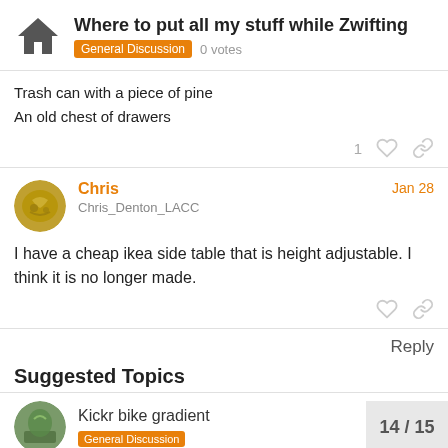Where to put all my stuff while Zwifting — General Discussion  0 votes
Trash can with a piece of pine
An old chest of drawers
Chris  Chris_Denton_LACC  Jan 28
I have a cheap ikea side table that is height adjustable. I think it is no longer made.
Reply
Suggested Topics
Kickr bike gradient  General Discussion  14 / 15